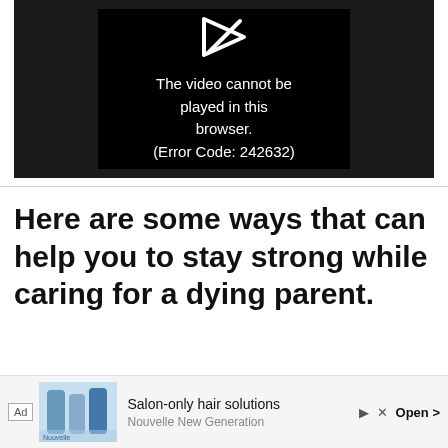[Figure (screenshot): Video player showing error message: 'The video cannot be played in this browser. (Error Code: 242632)' on a dark background with a broken play icon.]
Here are some ways that can help you to stay strong while caring for a dying parent.
[Figure (screenshot): Advertisement bar for 'Nouvelle New Generation' salon-only hair solutions with product image and Open button.]